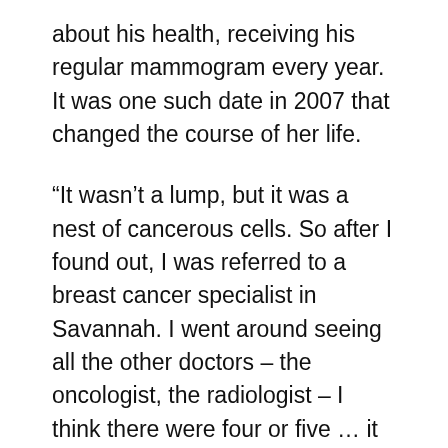about his health, receiving his regular mammogram every year. It was one such date in 2007 that changed the course of her life.
“It wasn’t a lump, but it was a nest of cancerous cells. So after I found out, I was referred to a breast cancer specialist in Savannah. I went around seeing all the other doctors – the oncologist, the radiologist – I think there were four or five … it was a really scary and overwhelming day, “Beecher recalled.” I was overworked. I really had to take some time to process it before making any decisions. ”
Once Beecher wandered off a bit, she was able to chart the course of her treatment